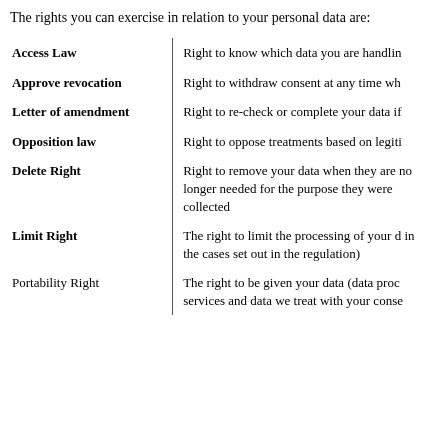The rights you can exercise in relation to your personal data are:
| Right | Description |
| --- | --- |
| Access Law | Right to know which data you are handling |
| Approve revocation | Right to withdraw consent at any time when |
| Letter of amendment | Right to re-check or complete your data if |
| Opposition law | Right to oppose treatments based on legiti |
| Delete Right | Right to remove your data when they are no longer needed for the purpose they were collected |
| Limit Right | The right to limit the processing of your data (in the cases set out in the regulation) |
| Portability Right | The right to be given your data (data processed by automated services and data we treat with your consent, as possible |